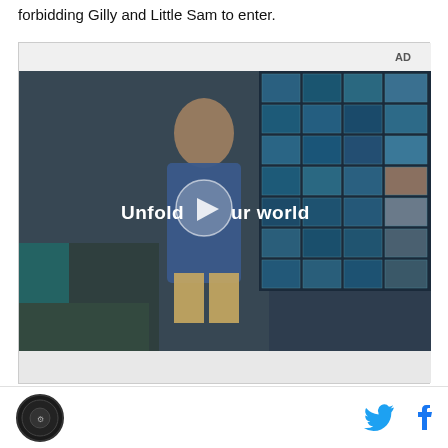forbidding Gilly and Little Sam to enter.
[Figure (screenshot): Video advertisement with 'AD' label in top-right corner. Shows a young man in a denim jacket walking through what appears to be a food court or restaurant setting with a blue tiled window wall in the background. A play button is overlaid in the center with text 'Unfold your world' (Samsung Galaxy Fold advertisement).]
Logo icon | Twitter icon | Facebook icon